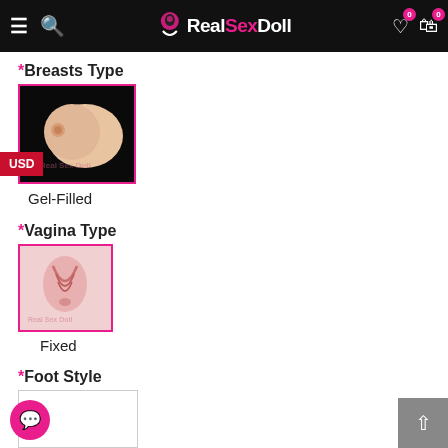RealSexDoll – navigation header with hamburger menu, search, logo, wishlist (0), cart (0)
*Breasts Type
[Figure (photo): Gel-Filled breast type option image with pink border, dark background, watermark 'Real Sex Doll']
Gel-Filled
*Vagina Type
[Figure (photo): Fixed vagina type option image with pink border, watermark 'Real Sex Doll']
Fixed
*Foot Style
[Figure (photo): Foot Style option image box, partially visible, white background]